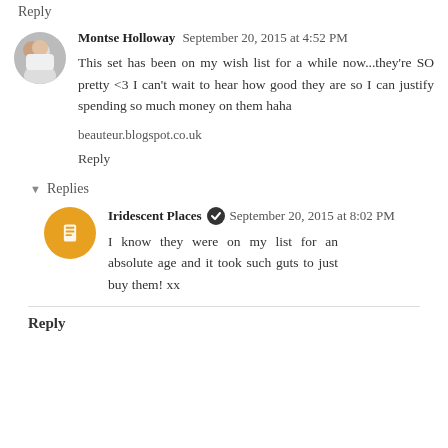Reply
Montse Holloway September 20, 2015 at 4:52 PM
This set has been on my wish list for a while now...they're SO pretty <3 I can't wait to hear how good they are so I can justify spending so much money on them haha
beauteur.blogspot.co.uk
Reply
Replies
Iridescent Places September 20, 2015 at 8:02 PM
I know they were on my list for an absolute age and it took such guts to just buy them! xx
Reply